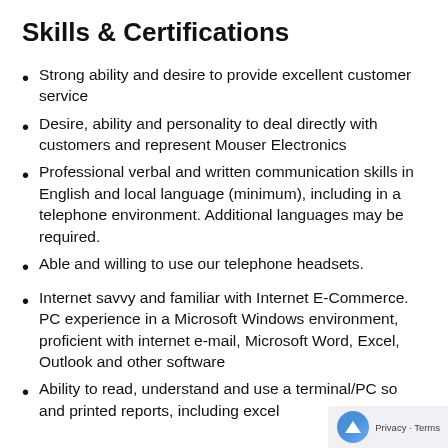Skills & Certifications
Strong ability and desire to provide excellent customer service
Desire, ability and personality to deal directly with customers and represent Mouser Electronics
Professional verbal and written communication skills in English and local language (minimum), including in a telephone environment. Additional languages may be required.
Able and willing to use our telephone headsets.
Internet savvy and familiar with Internet E-Commerce. PC experience in a Microsoft Windows environment, proficient with internet e-mail, Microsoft Word, Excel, Outlook and other software
Ability to read, understand and use a terminal/PC so... and printed reports, including excel